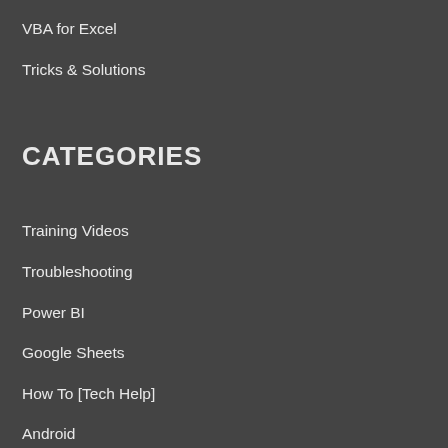VBA for Excel
Tricks & Solutions
CATEGORIES
Training Videos
Troubleshooting
Power BI
Google Sheets
How To [Tech Help]
Android